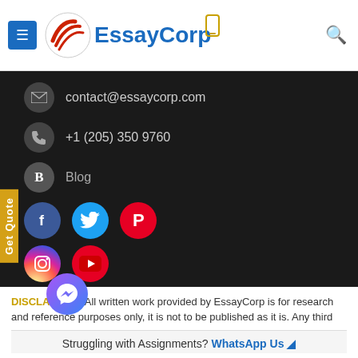[Figure (logo): EssayCorp logo with red striped circular icon and blue text, hamburger menu button, mobile icon, search icon]
contact@essaycorp.com
+1 (205) 350 9760
Blog
[Figure (infographic): Social media icons: Facebook (blue), Twitter (cyan), Pinterest (red), Instagram (gradient), YouTube (red)]
Copyright © 2022 EssayCorp. All rights reserved
[Figure (infographic): DMCA PROTECTED badge with green background and lock icon]
DISCLAIMER : All written work provided by EssayCorp is for research and reference purposes only, it is not to be published as it is. Any third
Struggling with Assignments? WhatsApp Us ᰆ